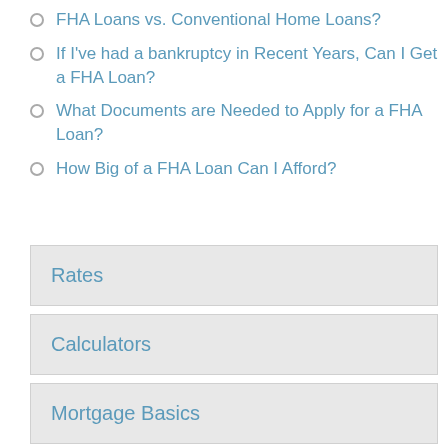FHA Loans vs. Conventional Home Loans?
If I've had a bankruptcy in Recent Years, Can I Get a FHA Loan?
What Documents are Needed to Apply for a FHA Loan?
How Big of a FHA Loan Can I Afford?
Rates
Calculators
Mortgage Basics
Loan Programs